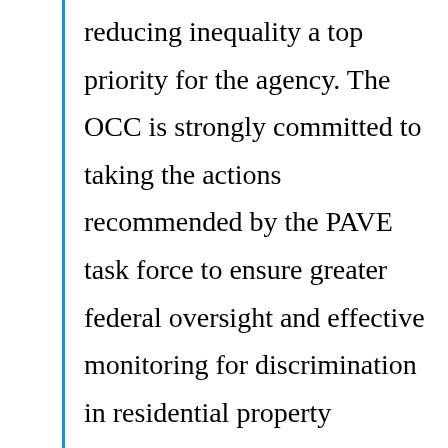reducing inequality a top priority for the agency. The OCC is strongly committed to taking the actions recommended by the PAVE task force to ensure greater federal oversight and effective monitoring for discrimination in residential property appraisals and technology-based valuations. In the coming months, we will enhance our supervisory methods for identifying discrimination in